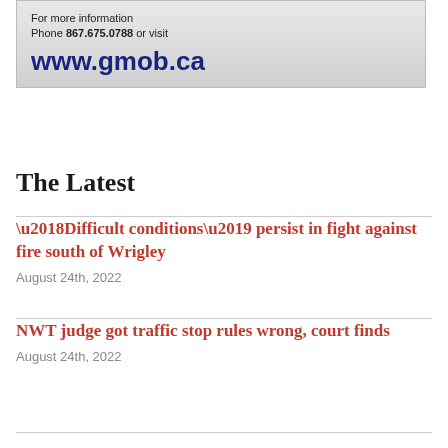[Figure (other): Advertisement box with gradient grey background showing contact information: 'For more information Phone 867.675.0788 or visit www.gmob.ca']
The Latest
‘Difficult conditions’ persist in fight against fire south of Wrigley
August 24th, 2022
NWT judge got traffic stop rules wrong, court finds
August 24th, 2022